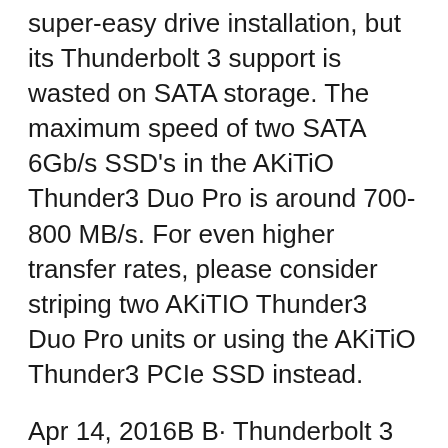super-easy drive installation, but its Thunderbolt 3 support is wasted on SATA storage. The maximum speed of two SATA 6Gb/s SSD's in the AKiTiO Thunder3 Duo Pro is around 700-800 MB/s. For even higher transfer rates, please consider striping two AKiTIO Thunder3 Duo Pro units or using the AKiTiO Thunder3 PCIe SSD instead.
Apr 14, 2016В В· Thunderbolt 3 in Action: Akitio Thunder3 Duo Pro DAS Review The first Thunderbolt 3 peripheral to appear in the market was the Akitio Thunder3 вЂ¦ We lucked out when we got these AKiTiO Thunder3 Duo Pro enclosures in the studio. These lovely aluminum cages allow us to RAID